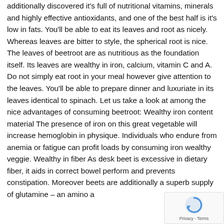additionally discovered it's full of nutritional vitamins, minerals and highly effective antioxidants, and one of the best half is it's low in fats. You'll be able to eat its leaves and root as nicely. Whereas leaves are bitter to style, the spherical root is nice. The leaves of beetroot are as nutritious as the foundation itself. Its leaves are wealthy in iron, calcium, vitamin C and A. Do not simply eat root in your meal however give attention to the leaves. You'll be able to prepare dinner and luxuriate in its leaves identical to spinach. Let us take a look at among the nice advantages of consuming beetroot: Wealthy iron content material The presence of iron on this great vegetable will increase hemoglobin in physique. Individuals who endure from anemia or fatigue can profit loads by consuming iron wealthy veggie. Wealthy in fiber As desk beet is excessive in dietary fiber, it aids in correct bowel perform and prevents constipation. Moreover beets are additionally a superb supply of glutamine – an amino a
[Figure (other): reCAPTCHA badge with spinning arrow logo and Privacy - Terms text]